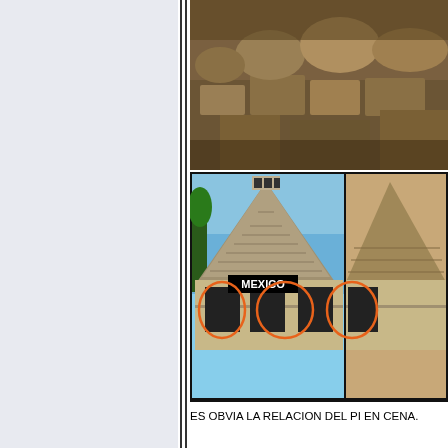[Figure (photo): Top photo showing ancient stone ruins or altar with rocky debris, warm brown/tan tones.]
[Figure (photo): Composite image showing two side-by-side photos. Left: Chichen Itza pyramid in Mexico with 'MEXICO' label in black bar, and orange oval circles drawn around doorway openings at base. Right: partial view of another pyramid structure with similar orange oval markings.]
ES OBVIA LA RELACION DEL PI EN CENA.